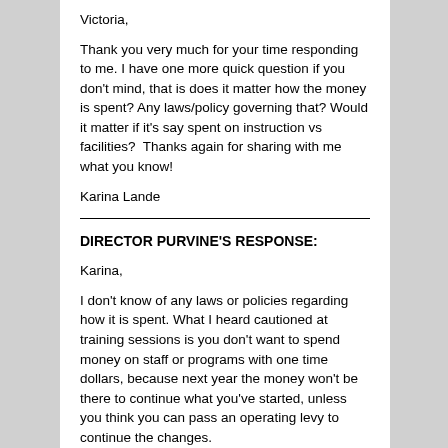Victoria,
Thank you very much for your time responding to me. I have one more quick question if you don't mind, that is does it matter how the money is spent? Any laws/policy governing that? Would it matter if it's say spent on instruction vs facilities?  Thanks again for sharing with me what you know!
Karina Lande
DIRECTOR PURVINE'S RESPONSE:
Karina,
I don't know of any laws or policies regarding how it is spent. What I heard cautioned at training sessions is you don't want to spend money on staff or programs with one time dollars, because next year the money won't be there to continue what you've started, unless you think you can pass an operating levy to continue the changes.